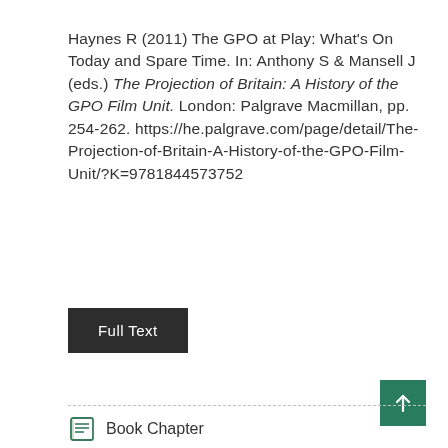Haynes R (2011) The GPO at Play: What's On Today and Spare Time. In: Anthony S & Mansell J (eds.) The Projection of Britain: A History of the GPO Film Unit. London: Palgrave Macmillan, pp. 254-262. https://he.palgrave.com/page/detail/The-Projection-of-Britain-A-History-of-the-GPO-Film-Unit/?K=9781844573752
Full Text
Book Chapter